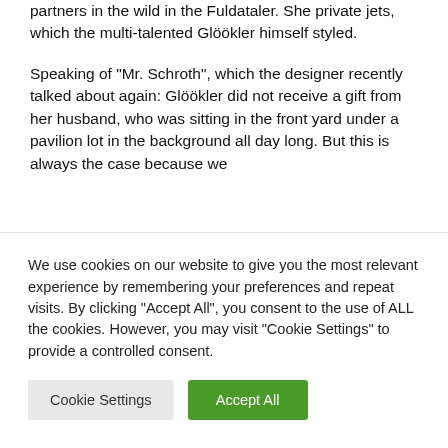partners in the wild in the Fuldataler. She private jets, which the multi-talented Glöökler himself styled.
Speaking of "Mr. Schroth", which the designer recently talked about again: Glöökler did not receive a gift from her husband, who was sitting in the front yard under a pavilion lot in the background all day long. But this is always the case because we
We use cookies on our website to give you the most relevant experience by remembering your preferences and repeat visits. By clicking "Accept All", you consent to the use of ALL the cookies. However, you may visit "Cookie Settings" to provide a controlled consent.